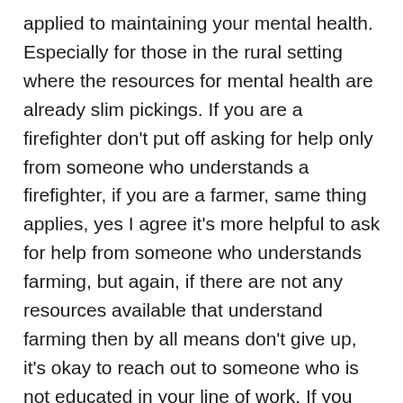applied to maintaining your mental health. Especially for those in the rural setting where the resources for mental health are already slim pickings. If you are a firefighter don't put off asking for help only from someone who understands a firefighter, if you are a farmer, same thing applies, yes I agree it's more helpful to ask for help from someone who understands farming, but again, if there are not any resources available that understand farming then by all means don't give up, it's okay to reach out to someone who is not educated in your line of work. If you are to the point where you feel you need help it's more important to get help from someone that can help you regardless of their understanding of your current or past career.
The resources and tools that available to help you